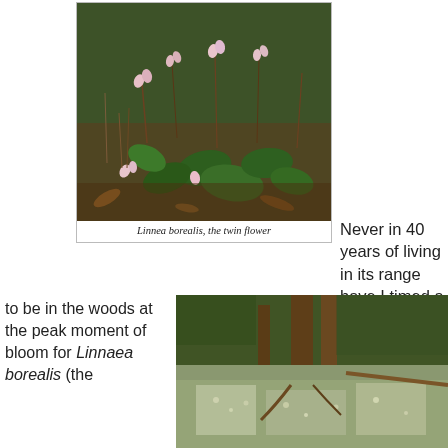[Figure (photo): Close-up photo of Linnea borealis (twin flower) plants with small pink bell-shaped flowers and green oval leaves growing in a forest floor setting]
Linnea borealis, the twin flower
Never in 40 years of living in its range have I timed a walk
to be in the woods at the peak moment of bloom for Linnaea borealis (the
[Figure (photo): Forest floor covered in dense low ground cover plants and moss, with tree trunks visible in the background]